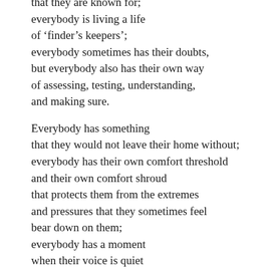that they are known for;
everybody is living a life
of 'finder’s keepers';
everybody sometimes has their doubts,
but everybody also has their own way
of assessing, testing, understanding,
and making sure.

Everybody has something
that they would not leave their home without;
everybody has their own comfort threshold
and their own comfort shroud
that protects them from the extremes
and pressures that they sometimes feel
bear down on them;
everybody has a moment
when their voice is quiet